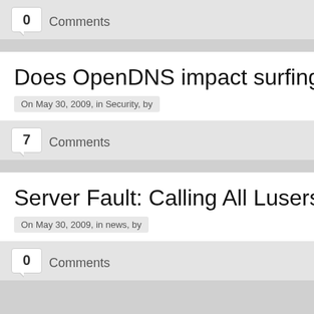0 Comments
Does OpenDNS impact surfing spe…
On May 30, 2009, in Security, by
7 Comments
Server Fault: Calling All Lusers
On May 30, 2009, in news, by
0 Comments